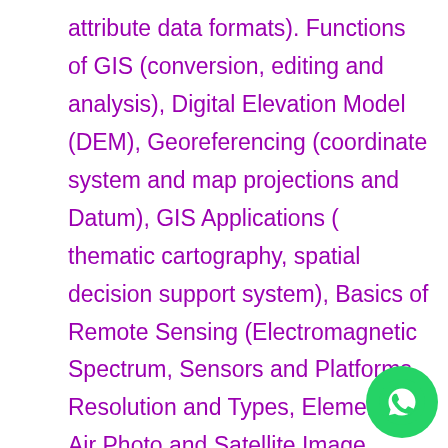attribute data formats). Functions of GIS (conversion, editing and analysis), Digital Elevation Model (DEM), Georeferencing (coordinate system and map projections and Datum), GIS Applications ( thematic cartography, spatial decision support system), Basics of Remote Sensing (Electromagnetic Spectrum, Sensors and Platforms, Resolution and Types, Elements of Air Photo and Satellite Image Interpretation and Photogrammetry), Types of Aerial Photographs, Digital Image Processing: Developments in Remote Sensing Technology and Big Data Sharing and its applications in Natural Resources Management in India, GPS Components (space, ground control and receiver segments) and Applications, Applications of
[Figure (illustration): WhatsApp logo button (green circle with white phone handset icon) in bottom-right corner]